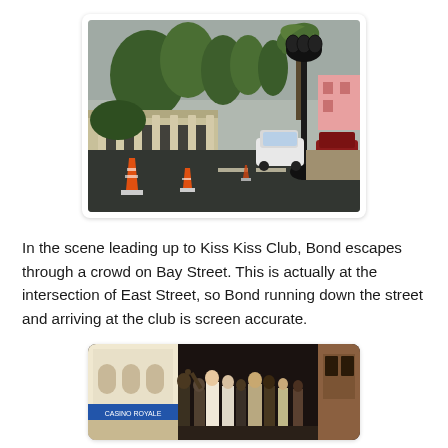[Figure (photo): A wet street scene with orange traffic cones, palm trees, a lamp post, parked cars, and colonial-style buildings including a pink building in the background. The road is dark and wet, suggesting recent rain.]
In the scene leading up to Kiss Kiss Club, Bond escapes through a crowd on Bay Street. This is actually at the intersection of East Street, so Bond running down the street and arriving at the club is screen accurate.
[Figure (photo): A nighttime crowd scene on a street, showing people gathered outside what appears to be a club with arched architecture. People are dressed in 1960s-style clothing.]